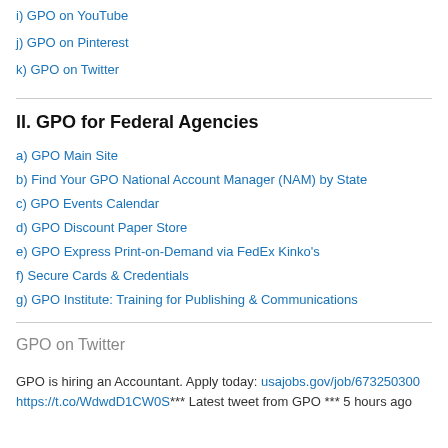i) GPO on YouTube
j) GPO on Pinterest
k) GPO on Twitter
II. GPO for Federal Agencies
a) GPO Main Site
b) Find Your GPO National Account Manager (NAM) by State
c) GPO Events Calendar
d) GPO Discount Paper Store
e) GPO Express Print-on-Demand via FedEx Kinko's
f) Secure Cards & Credentials
g) GPO Institute: Training for Publishing & Communications
GPO on Twitter
GPO is hiring an Accountant. Apply today: usajobs.gov/job/673250300 https://t.co/WdwdD1CW0S*** Latest tweet from GPO *** 5 hours ago